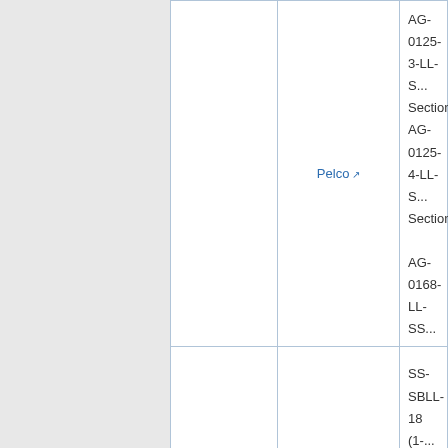|  | Pelco | AG-0125-3-LL-S... Section)
AG-0125-4-LL-S... Section)

AG-0168-LL-SS... |
| A Division of Olson Aluminum Castings | Sky Bracket | SS-SBLL-18 (1-...
SS-SBLL-46 (3-...
SS-SBLL-60 (4-...

SS-SBLL_HPB-... |
Comment: Stainless steel banding/cab... For Pelco: Required cable length (LL) t...